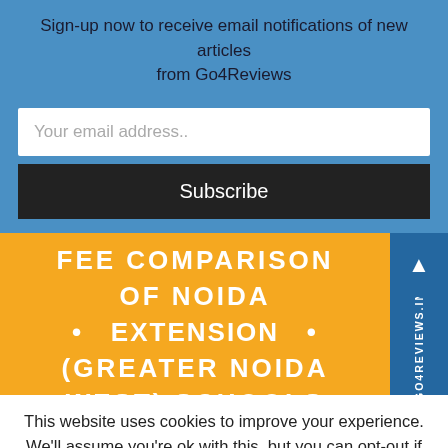Sign-up now to receive email notifications of new articles from Go4Reviews
Your email address..
Subscribe
[Figure (infographic): Yellow banner graphic with white bold text reading 'FEE COMPARISON OF NOIDA • EXTENSION • (GREATER NOIDA WEST) SCHOOLS' with a blue tab showing an up arrow and vertical watermark text 'GO4REVIEWS.IN' on the right side]
This website uses cookies to improve your experience. We'll assume you're ok with this, but you can opt-out if you wish.
Cookie settings
ACCEPT